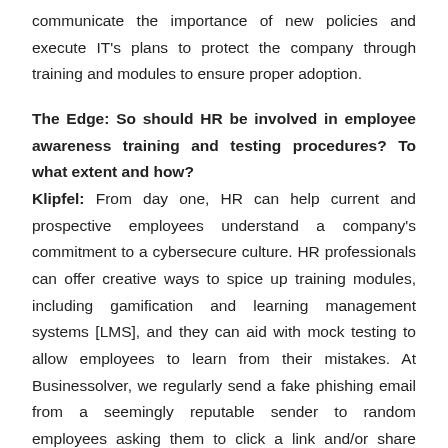communicate the importance of new policies and execute IT's plans to protect the company through training and modules to ensure proper adoption.
The Edge: So should HR be involved in employee awareness training and testing procedures? To what extent and how? Klipfel: From day one, HR can help current and prospective employees understand a company's commitment to a cybersecure culture. HR professionals can offer creative ways to spice up training modules, including gamification and learning management systems [LMS], and they can aid with mock testing to allow employees to learn from their mistakes. At Businessolver, we regularly send a fake phishing email from a seemingly reputable sender to random employees asking them to click a link and/or share personal or professional information. If an employee follows through, they receive a message telling them that it was a phishing attempt, thus increasing their vigilance for the future.